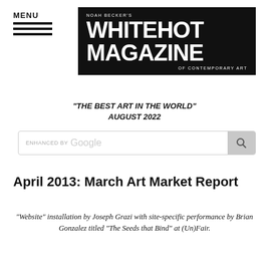MENU
[Figure (logo): Noah Becker's Whitehot Magazine of Contemporary Art logo, white text on black background]
"THE BEST ART IN THE WORLD" AUGUST 2022
[Figure (screenshot): Enhanced by Google search bar]
April 2013: March Art Market Report
"Website" installation by Joseph Grazi with site-specific performance by Brian Gonzalez titled "The Seeds that Bind" at (Un)Fair.